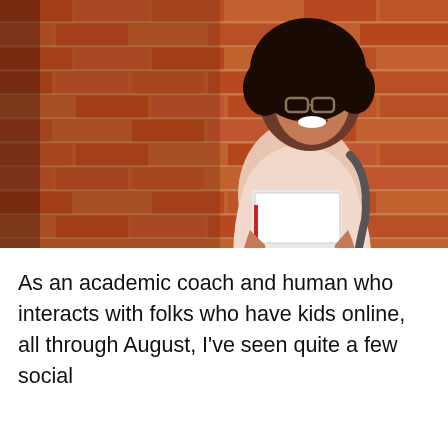[Figure (photo): A smiling young woman with curly hair and glasses, wearing a light pink top and backpack, holding notebooks and a laptop, standing in front of a red brick wall.]
As an academic coach and human who interacts with folks who have kids online, all through August, I've seen quite a few social